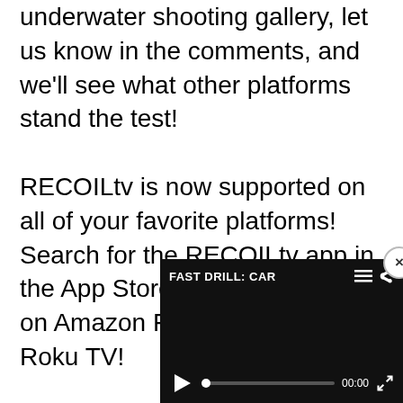underwater shooting gallery, let us know in the comments, and we'll see what other platforms stand the test!
RECOILtv is now supported on all of your favorite platforms! Search for the RECOILtv app in the App Store, Play Store, and on Amazon Fire, Apple, and Roku TV!
Download RECOILtv for Android devices in the Play Store today:
https://play.google.com/store/apps/details?id=co.unreel.recoiltv
Download RECOILtv for iOS devices in the App Store today:
https://apps.apple.com/usa/... 77
[Figure (screenshot): Video player overlay in bottom-right corner showing 'FAST DRILL: CAR' title with menu and share icons, play button, progress bar at 00:00, and fullscreen button. Has a close (x) button in the top-right.]